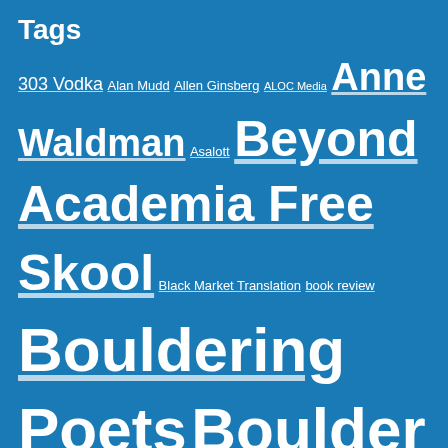Tags
303 Vodka Alan Mudd Allen Ginsberg ALOC Media Anne Waldman Asalott Beyond Academia Free Skool Black Market Translation book review Bouldering Poets Boulder Poetry Scene Boulder Public Library Boulder Writers Warehouse Brian Buckley Buchanan's Caitlan Mitchell Chogyam Trungpa Rinpoche Cicada Mussleman Clint Locks Dank P.h.a.r.t The Pirate Poet Dustin Holland Ella Longpre Ellie Swensson Elyse Brownell Eric Fischman FBomb featured Full Moon Reading Genelle Chaconas Get in the car Helen